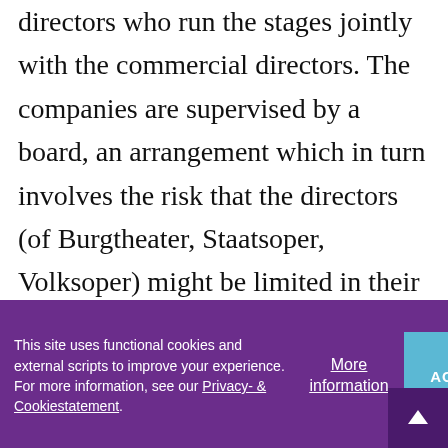directors who run the stages jointly with the commercial directors. The companies are supervised by a board, an arrangement which in turn involves the risk that the directors (of Burgtheater, Staatsoper, Volksoper) might be limited in their artistic freedom.

The federal museums also have been undergoing a process of change with
This site uses functional cookies and external scripts to improve your experience. For more information, see our Privacy- & Cookiestatement.